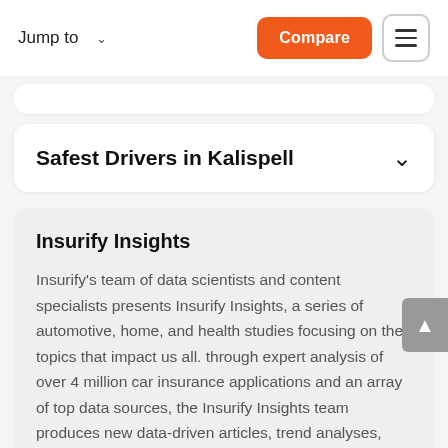Jump to   Compare
Safest Drivers in Kalispell
Insurify Insights
Insurify's team of data scientists and content specialists presents Insurify Insights, a series of automotive, home, and health studies focusing on the topics that impact us all. through expert analysis of over 4 million car insurance applications and an array of top data sources, the Insurify Insights team produces new data-driven articles, trend analyses, regional superlatives, and national rankings every week.